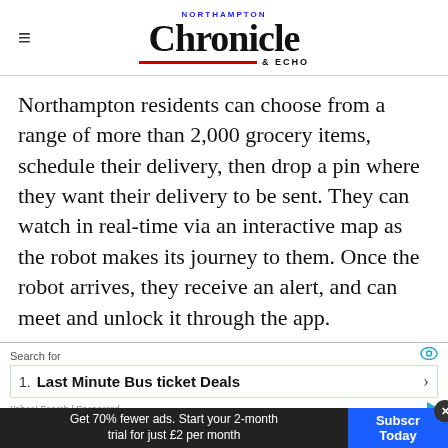NORTHAMPTON Chronicle & ECHO
Northampton residents can choose from a range of more than 2,000 grocery items, schedule their delivery, then drop a pin where they want their delivery to be sent. They can watch in real-time via an interactive map as the robot makes its journey to them. Once the robot arrives, they receive an alert, and can meet and unlock it through the app.
[Figure (screenshot): Yahoo Search sponsored advertisement bar showing 'Search for' with eye icon, '1. Last Minute Bus ticket Deals' with green border and arrow, and Yahoo! Search | Sponsored label with play icon]
The robots use a combination of sensors,
[Figure (screenshot): Bottom dark banner: 'Get 70% fewer ads. Start your 2-month trial for just £2 per month' on left, blue 'Subscribe Today' button on right with close X button]